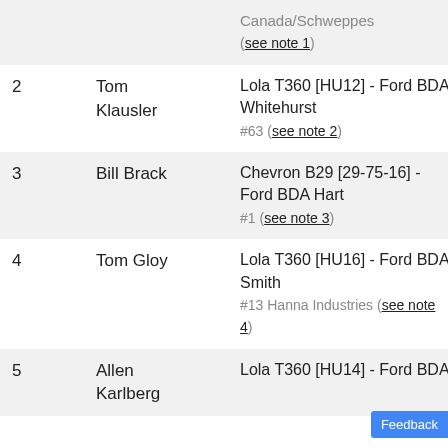| # | Driver | Car | Laps |
| --- | --- | --- | --- |
|  |  | Canada/Schweppes
(see note 1) |  |
| 2 | Tom Klausler | Lola T360 [HU12] - Ford BDA Whitehurst
#63 (see note 2) | 40 |
| 3 | Bill Brack | Chevron B29 [29-75-16] - Ford BDA Hart
#1 (see note 3) | 40 |
| 4 | Tom Gloy | Lola T360 [HU16] - Ford BDA Smith
#13 Hanna Industries (see note 4) | 40 |
| 5 | Allen Karlberg | Lola T360 [HU14] - Ford BDA | 40 |